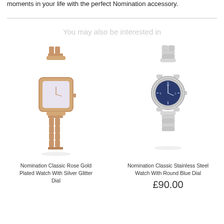moments in your life with the perfect Nomination accessory.
You may also be interested in
[Figure (photo): Nomination Classic Rose Gold Plated Watch With Silver Glitter Dial product photo]
Nomination Classic Rose Gold Plated Watch With Silver Glitter Dial
[Figure (photo): Nomination Classic Stainless Steel Watch With Round Blue Dial product photo]
Nomination Classic Stainless Steel Watch With Round Blue Dial
£90.00